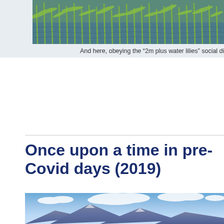[Figure (photo): Partial photo of reeds and water, cropped at top and right edge]
And here, obeying the “2m plus water lilies” social dista...
Once upon a time in pre-Covid days (2019)
[Figure (photo): Mountain landscape with blue sky and clouds, mountain peaks visible at bottom]